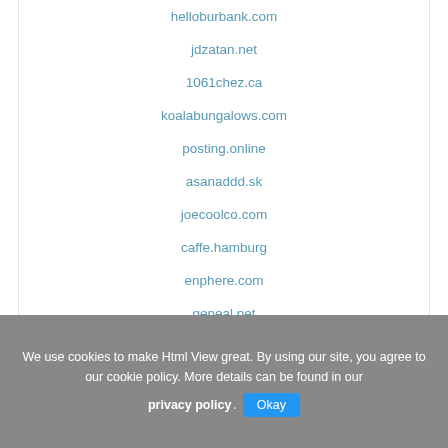helloburbank.com
jdzatan.net
1061chez.ca
koalabungalows.com
posting.online
asanaddd.sk
joecoolco.com
caffe.hamburg
enphere.com
geneal.net
salon-121.com
We use cookies to make Html View great. By using our site, you agree to our cookie policy. More details can be found in our privacy policy. Okay